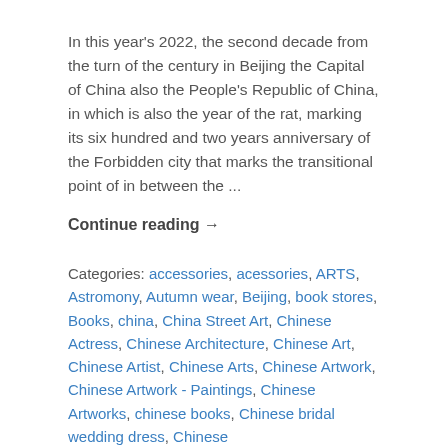In this year's 2022, the second decade from the turn of the century in Beijing the Capital of China also the People's Republic of China, in which is also the year of the rat, marking its six hundred and two years anniversary of the Forbidden city that marks the transitional point of in between the ...
Continue reading →
Categories: accessories, acessories, ARTS, Astromony, Autumn wear, Beijing, book stores, Books, china, China Street Art, Chinese Actress, Chinese Architecture, Chinese Art, Chinese Artist, Chinese Arts, Chinese Artwork, Chinese Artwork - Paintings, Chinese Artworks, chinese books, Chinese bridal wedding dress, Chinese